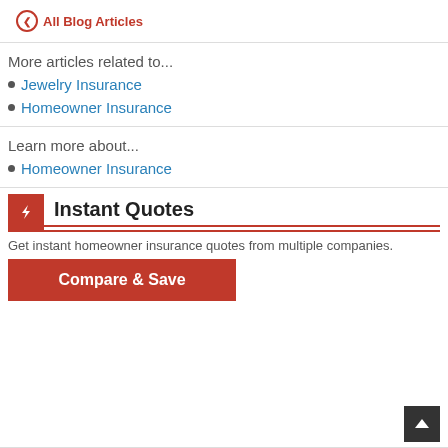← All Blog Articles
More articles related to...
Jewelry Insurance
Homeowner Insurance
Learn more about...
Homeowner Insurance
Instant Quotes
Get instant homeowner insurance quotes from multiple companies.
Compare & Save